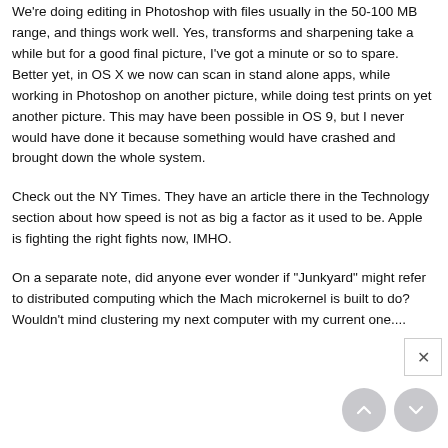We're doing editing in Photoshop with files usually in the 50-100 MB range, and things work well. Yes, transforms and sharpening take a while but for a good final picture, I've got a minute or so to spare. Better yet, in OS X we now can scan in stand alone apps, while working in Photoshop on another picture, while doing test prints on yet another picture. This may have been possible in OS 9, but I never would have done it because something would have crashed and brought down the whole system.
Check out the NY Times. They have an article there in the Technology section about how speed is not as big a factor as it used to be. Apple is fighting the right fights now, IMHO.
On a separate note, did anyone ever wonder if "Junkyard" might refer to distributed computing which the Mach microkernel is built to do? Wouldn't mind clustering my next computer with my current one....